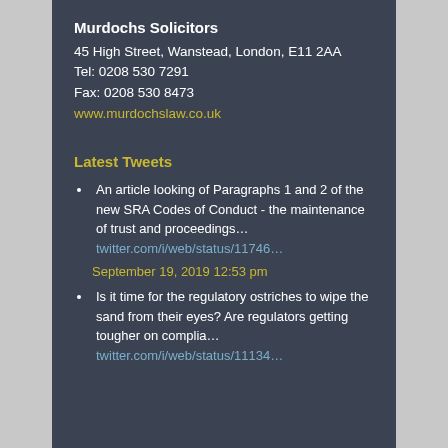Murdochs Solicitors
45 High Street, Wanstead, London, E11 2AA
Tel: 0208 530 7291
Fax: 0208 530 8473
www.murdochslaw.co.uk
Latest Tweets
An article looking of Paragraphs 1 and 2 of the new SRA Codes of Conduct - the maintenance of trust and proceedings… twitter.com/i/web/status/11746…
September 19, 2019 12:53 pm
Is it time for the regulatory ostriches to wipe the sand from their eyes? Are regulators getting tougher on complia… twitter.com/i/web/status/11134…